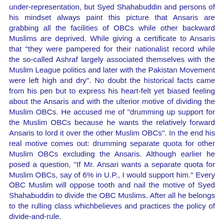under-representation, but Syed Shahabuddin and persons of his mindset always paint this picture that Ansaris are grabbing all the facilities of OBCs while other backward Muslims are deprived. While giving a certificate to Ansaris that "they were pampered for their nationalist record while the so-called Ashraf largely associated themselves with the Muslim League politics and later with the Pakistan Movement were left high and dry". No doubt the historical facts came from his pen but to express his heart-felt yet biased feeling about the Ansaris and with the ulterior motive of dividing the Muslim OBCs. He accused me of "drumming up support for the Muslim OBCs because he wants the relatively forward Ansaris to lord it over the other Muslim OBCs". In the end his real motive comes out: drumming separate quota for other Muslim OBCs excluding the Ansaris. Although earlier he posed a question, "If Mr. Ansari wants a separate quota for Muslim OBCs, say of 6% in U.P., I would support him." Every OBC Muslim will oppose tooth and nail the motive of Syed Shahabuddin to divide the OBC Muslims. After all he belongs to the rulling class whichbelieves and practices the policy of divide-and-rule.